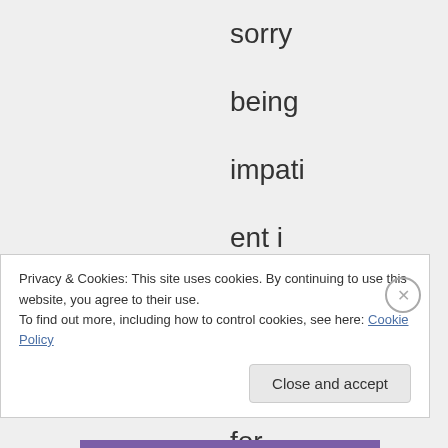sorry being impati ent i just eager for viewer s cos i feel like a
Privacy & Cookies: This site uses cookies. By continuing to use this website, you agree to their use.
To find out more, including how to control cookies, see here: Cookie Policy